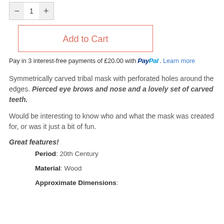[Figure (other): Quantity selector widget with minus button, number 1, and plus button]
Add to Cart
Pay in 3 interest-free payments of £20.00 with PayPal. Learn more
Symmetrically carved tribal mask with perforated holes around the edges. Pierced eye brows and nose and a lovely set of carved teeth.
Would be interesting to know who and what the mask was created for, or was it just a bit of fun.
Great features!
Period: 20th Century
Material: Wood
Approximate Dimensions: